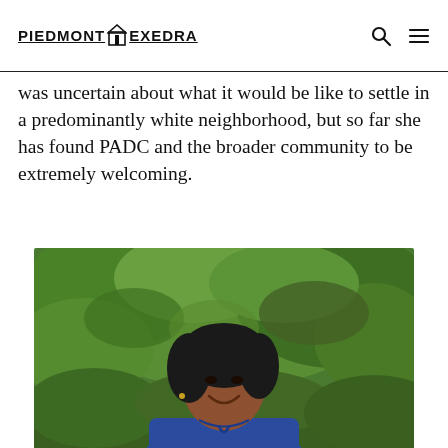PIEDMONT EXEDRA
was uncertain about what it would be like to settle in a predominantly white neighborhood, but so far she has found PADC and the broader community to be extremely welcoming.
[Figure (photo): Portrait of a woman with short dark hair, wearing a blue top, smiling, with green leafy foliage in the background.]